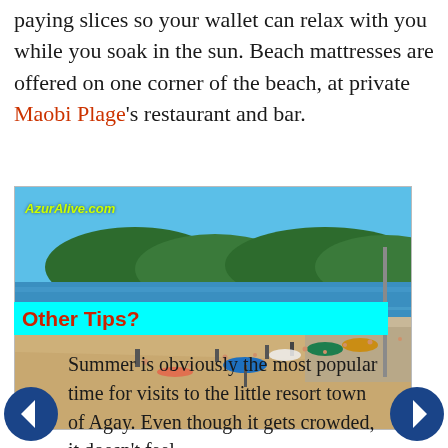paying slices so your wallet can relax with you while you soak in the sun. Beach mattresses are offered on one corner of the beach, at private Maobi Plage's restaurant and bar.
[Figure (photo): Beach scene with sandy shore, blue water, hills in background, beachgoers sunbathing and swimming. Watermark: AzurAlive.com]
Other Tips?
Summer is obviously the most popular time for visits to the little resort town of Agay. Even though it gets crowded, it doesn't feel